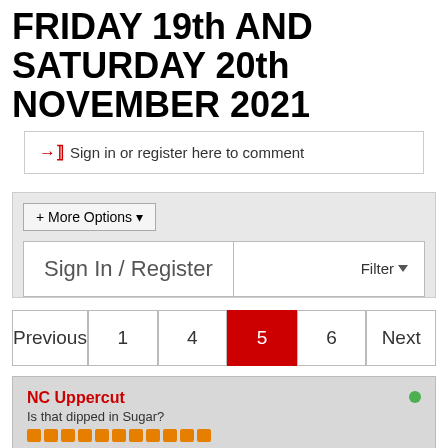FRIDAY 19th AND SATURDAY 20th NOVEMBER 2021
Sign in or register here to comment
+ More Options
Sign In / Register
Filter
Previous  1  4  5  6  Next
NC Uppercut
Is that dipped in Sugar?
Join Date: Aug 2014  Posts: 6418
Points: 2,030
Received 731  Given 1,814